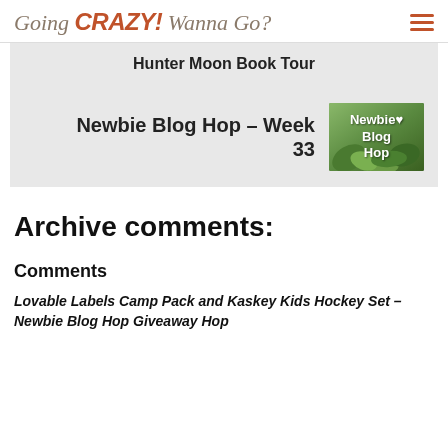Going CRAZY! Wanna Go?
Hunter Moon Book Tour
Newbie Blog Hop – Week 33
[Figure (photo): Newbie Blog Hop thumbnail image with green plants and white text reading 'Newbie Blog Hop']
Archive comments:
Comments
Lovable Labels Camp Pack and Kaskey Kids Hockey Set – Newbie Blog Hop Giveaway Hop